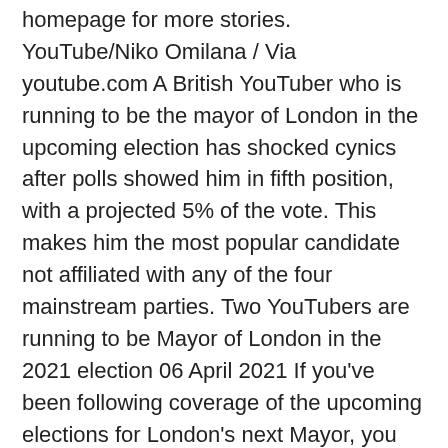homepage for more stories. YouTube/Niko Omilana / Via youtube.com A British YouTuber who is running to be the mayor of London in the upcoming election has shocked cynics after polls showed him in fifth position, with a projected 5% of the vote. This makes him the most popular candidate not affiliated with any of the four mainstream parties. Two YouTubers are running to be Mayor of London in the 2021 election 06 April 2021 If you've been following coverage of the upcoming elections for London's next Mayor, you might think the candidacy of Piers Corbyn – yes, Jeremy's brother – is the story.
Karta över stockholms län
Stora enso utdelning